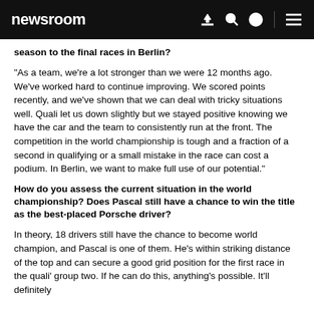newsroom
season to the final races in Berlin?
"As a team, we're a lot stronger than we were 12 months ago. We've worked hard to continue improving. We scored points recently, and we've shown that we can deal with tricky situations well. Quali let us down slightly but we stayed positive knowing we have the car and the team to consistently run at the front. The competition in the world championship is tough and a fraction of a second in qualifying or a small mistake in the race can cost a podium. In Berlin, we want to make full use of our potential."
How do you assess the current situation in the world championship? Does Pascal still have a chance to win the title as the best-placed Porsche driver?
In theory, 18 drivers still have the chance to become world champion, and Pascal is one of them. He's within striking distance of the top and can secure a good grid position for the first race in the quali' group two. If he can do this, anything's possible. It'll definitely